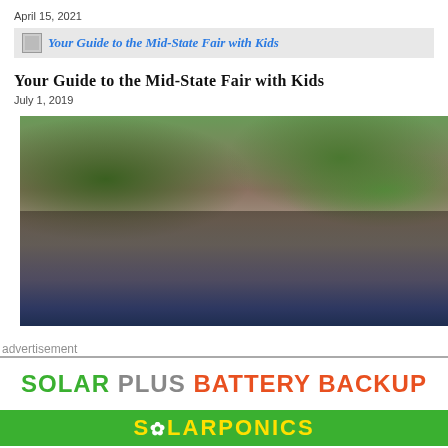April 15, 2021
Your Guide to the Mid-State Fair with Kids
Your Guide to the Mid-State Fair with Kids
July 1, 2019
[Figure (photo): Large outdoor crowd gathered on grass under trees at the Mid-State Fair]
advertisement
[Figure (other): Advertisement for Solarponics Solar Plus Battery Backup]